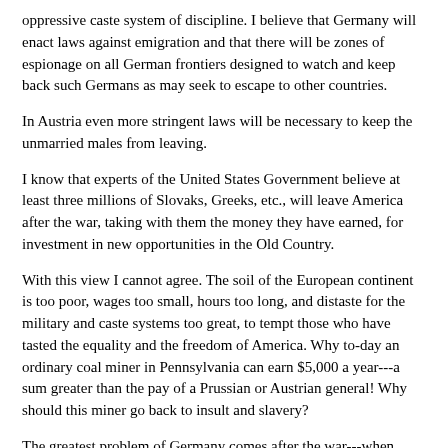oppressive caste system of discipline. I believe that Germany will enact laws against emigration and that there will be zones of espionage on all German frontiers designed to watch and keep back such Germans as may seek to escape to other countries.
In Austria even more stringent laws will be necessary to keep the unmarried males from leaving.
I know that experts of the United States Government believe at least three millions of Slovaks, Greeks, etc., will leave America after the war, taking with them the money they have earned, for investment in new opportunities in the Old Country.
With this view I cannot agree. The soil of the European continent is too poor, wages too small, hours too long, and distaste for the military and caste systems too great, to tempt those who have tasted the equality and the freedom of America. Why to-day an ordinary coal miner in Pennsylvania can earn $5,000 a year---a sum greater than the pay of a Prussian or Austrian general! Why should this miner go back to insult and slavery?
The greatest problem of Germany comes after the war---when these millions of men, trained for four years or more to murder, shall return. It will be hard for them to settle down to regular work, impossible for them to submit again to the iron discipline of German civil life. Will the greatest Blackmailing possible...